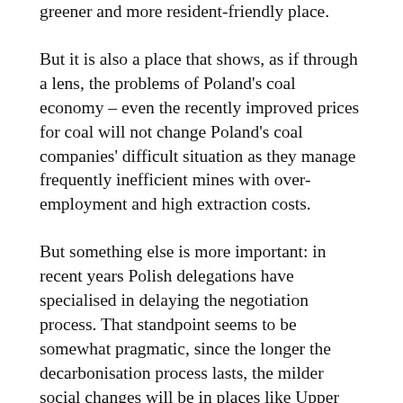greener and more resident-friendly place.
But it is also a place that shows, as if through a lens, the problems of Poland's coal economy – even the recently improved prices for coal will not change Poland's coal companies' difficult situation as they manage frequently inefficient mines with over-employment and high extraction costs.
But something else is more important: in recent years Polish delegations have specialised in delaying the negotiation process. That standpoint seems to be somewhat pragmatic, since the longer the decarbonisation process lasts, the milder social changes will be in places like Upper Silesia. Polish mining is slowly disappearing, shrinking and melting away, but politicians fear that excessively brusque actions will cause a union spill-over onto the streets